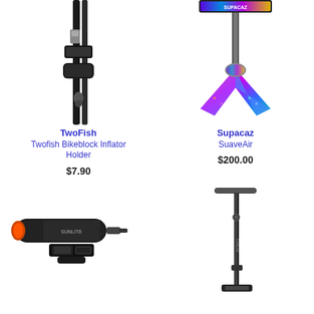[Figure (photo): TwoFish Bikeblock Inflator Holder - black pump/inflator holder mounted to bike frame with velcro strap]
TwoFish
Twofish Bikeblock Inflator Holder
$7.90
[Figure (photo): Supacaz SuaveAir - iridescent/rainbow colored floor pump with tripod base and Supacaz logo on top]
Supacaz
SuaveAir
$200.00
[Figure (photo): Sunlite mini pump with mounting bracket, black body with orange accent]
[Figure (photo): Tall slim floor pump, black, with T-bar handle]